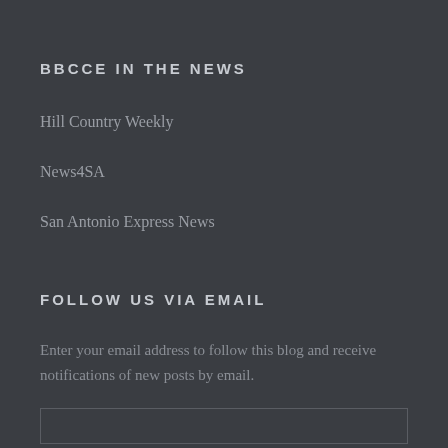BBCCE IN THE NEWS
Hill Country Weekly
News4SA
San Antonio Express News
FOLLOW US VIA EMAIL
Enter your email address to follow this blog and receive notifications of new posts by email.